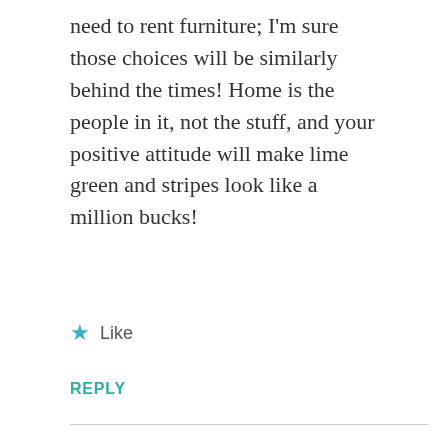need to rent furniture; I'm sure those choices will be similarly behind the times! Home is the people in it, not the stuff, and your positive attitude will make lime green and stripes look like a million bucks!
Like
REPLY
wrightsolution
JANUARY 26, 2016 AT 6:55 AM
Very funny. I can only imagine a government world where they